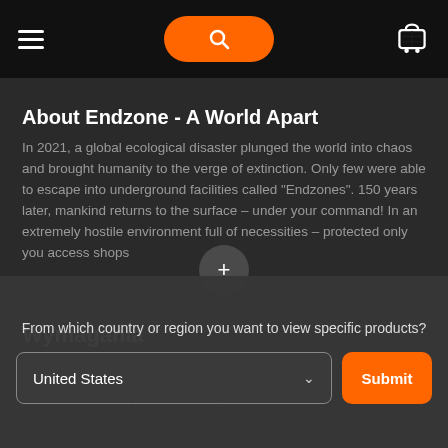Navigation bar with hamburger menu, search button, and cart icon
About Endzone - A World Apart
In 2021, a global ecological disaster plunged the world into chaos and brought humanity to the verge of extinction. Only few were able to escape into underground facilities called "Endzones". 150 years later, mankind returns to the surface - under your command! In an extremely hostile environment full of necessities - protected only you access shops
Wymagania
minimum*
OS: Windows 10 64 Bit
From which country or region you want to view specific products?
United States